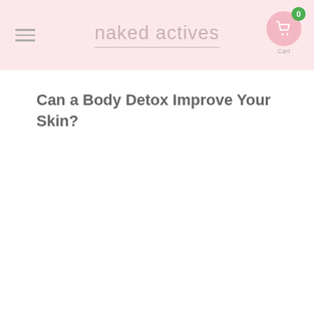naked actives
Can a Body Detox Improve Your Skin?